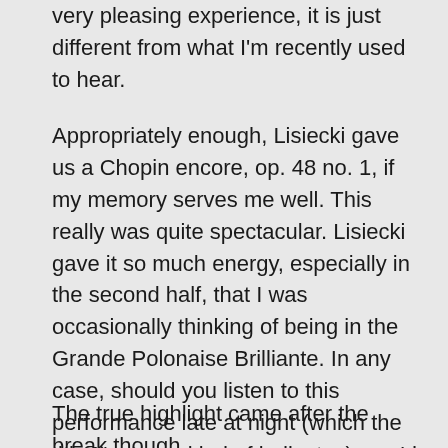very pleasing experience, it is just different from what I'm recently used to hear.
Appropriately enough, Lisiecki gave us a Chopin encore, op. 48 no. 1, if my memory serves me well. This really was quite spectacular. Lisiecki gave it so much energy, especially in the second half, that I was occasionally thinking of being in the Grande Polonaise Brilliante. In any case, should you listen to this performance late at night (which the title Nocturne kind of indicates), you'd be wide awake by all the sheer brilliance. Very enjoyable.
The true highlight came after the break though.